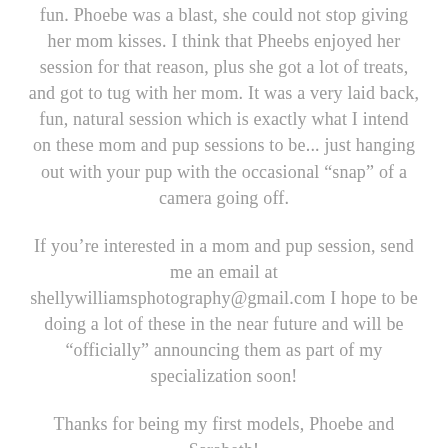fun. Phoebe was a blast, she could not stop giving her mom kisses. I think that Pheebs enjoyed her session for that reason, plus she got a lot of treats, and got to tug with her mom. It was a very laid back, fun, natural session which is exactly what I intend on these mom and pup sessions to be... just hanging out with your pup with the occasional “snap” of a camera going off.
If you’re interested in a mom and pup session, send me an email at shellywilliamsphotography@gmail.com I hope to be doing a lot of these in the near future and will be “officialy” announcing them as part of my specialization soon!
Thanks for being my first models, Phoebe and Sarabeth!
-Shelly